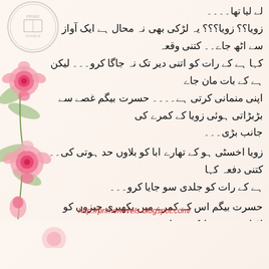[Figure (illustration): Prime Novels logo watermark top left - circular emblem with book and pen]
[Figure (illustration): Decorative pink roses on left side of page]
لے لیا تھا۔۔۔۔
زویا؟؟ زویا؟؟؟ یہ لڑکی بھی نہ محال ہے ایک آواز سے اٹھ جاے۔۔ کتنی وقعہ کہا ہے کے رات کو اتنی دیر تک نہ جاگا کرو۔۔۔ لیکن ہے کے بات مان جاے اپنی منمانی کرتی ہے۔۔۔۔ حسرت بیگم غصے سے بڑبڑاتی ہوئی زویا کے کمرے کی جانب بڑی۔۔۔
زویا اخسٹی ہو کے تھارے ابا کو بلاوں حد ہوتی کی۔۔ کتنی دفعہ کہا ہے کے رات کو جلدی سو جایا کرو۔۔۔
حسرت بیگم اس کے کمرے میں بکھیری چیزوں کو اٹھا رہی تھی لیکن زویا سنے کے باوجود۔۔ لیٹی رہی۔
یہ زویا کے ابو زرا بات سنے گا۔۔۔۔
جیسے ہی حسرت بیگم نے یہ جملہ بولا۔۔۔۔
http://primenovels.blogspot.com/
https://famousurdunovels.blogspot.com/
5
زویا ہربرا کے اٹھ بیٹھی۔۔۔۔۔